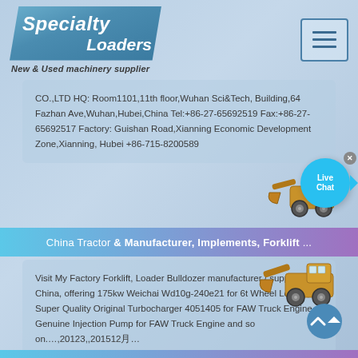[Figure (logo): Specialty Loaders logo with blue parallelogram shape and tagline 'New & Used machinery supplier']
[Figure (screenshot): Hamburger menu button with three horizontal lines in a bordered box]
CO.,LTD HQ: Room1101,11th floor,Wuhan Sci&Tech, Building,64 Fazhan Ave,Wuhan,Hubei,China Tel:+86-27-65692519 Fax:+86-27-65692517 Factory: Guishan Road,Xianning Economic Development Zone,Xianning, Hubei +86-715-8200589
[Figure (illustration): Yellow wheel loader machinery illustration, top right]
[Figure (illustration): Live Chat speech bubble in cyan blue]
China Tractor & Manufacturer, Implements, Forklift ...
[Figure (illustration): Yellow wheel loader machinery illustration, overlapping main content area]
Visit My Factory Forklift, Loader Bulldozer manufacturer / supplier in China, offering 175kw Weichai Wd10g-240e21 for 6t Wheel Loader, Super Quality Original Turbocharger 4051405 for FAW Truck Engine, Genuine Injection Pump for FAW Truck Engine and so on.…,20123,,201512月…